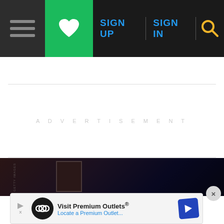Navigation bar with hamburger menu, heart/favorites button, SIGN UP, SIGN IN, and search icon
ADVERTISEMENT
[Figure (photo): Dark atmospheric interior photo showing framed artwork on a dark wall with curtains or drapes]
[Figure (infographic): Advertisement banner: Visit Premium Outlets® with infinity logo and navigation arrow icon. Close (X) button on right.]